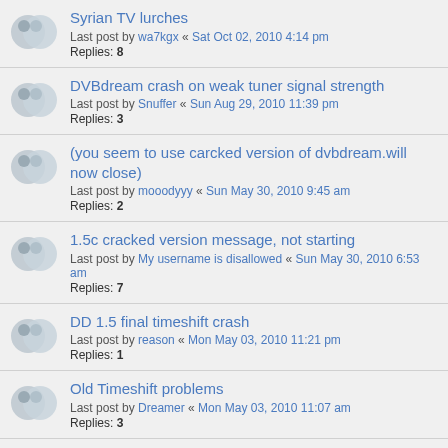Syrian TV lurches
Last post by wa7kgx « Sat Oct 02, 2010 4:14 pm
Replies: 8
DVBdream crash on weak tuner signal strength
Last post by Snuffer « Sun Aug 29, 2010 11:39 pm
Replies: 3
(you seem to use carcked version of dvbdream.will now close)
Last post by mooodyyy « Sun May 30, 2010 9:45 am
Replies: 2
1.5c cracked version message, not starting
Last post by My username is disallowed « Sun May 30, 2010 6:53 am
Replies: 7
DD 1.5 final timeshift crash
Last post by reason « Mon May 03, 2010 11:21 pm
Replies: 1
Old Timeshift problems
Last post by Dreamer « Mon May 03, 2010 11:07 am
Replies: 3
Old Schedule Bug
Last post by reason « Mon May 03, 2010 12:14 am
Replies: 10